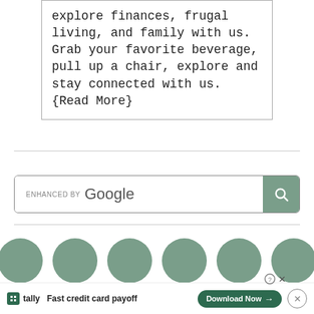explore finances, frugal living, and family with us. Grab your favorite beverage, pull up a chair, explore and stay connected with us. {Read More}
[Figure (screenshot): Google enhanced search bar with teal/sage green search button containing a magnifying glass icon]
[Figure (infographic): Six sage green filled circles arranged in a horizontal row]
[Figure (screenshot): Tally advertisement banner: 'Fast credit card payoff' with a green Download Now button, close buttons, and question mark icon]